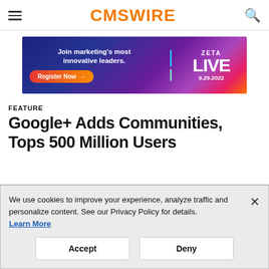CMSWIRE
[Figure (other): Advertisement banner for Zeta Live event on 9.29.2022. Blue-to-purple gradient background with text: 'Join marketing's most innovative leaders. Register Now →' on the left, and 'ZETA LIVE 9.29.2022' on the right.]
FEATURE
Google+ Adds Communities, Tops 500 Million Users
We use cookies to improve your experience, analyze traffic and personalize content. See our Privacy Policy for details. Learn More
Accept    Deny